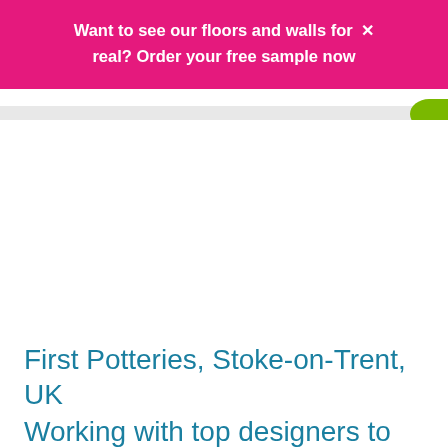Want to see our floors and walls for real? Order your free sample now ✕
First Potteries, Stoke-on-Trent, UK
Working with top designers to